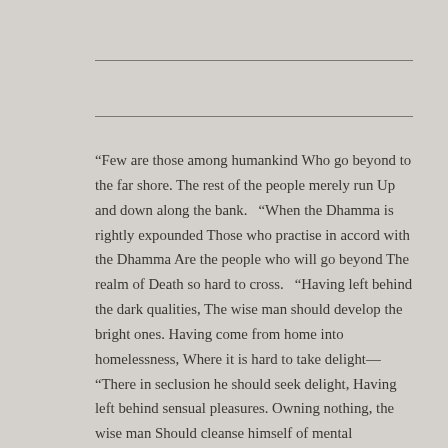“Few are those among humankind Who go beyond to the far shore. The rest of the people merely run Up and down along the bank.   “When the Dhamma is rightly expounded Those who practise in accord with the Dhamma Are the people who will go beyond The realm of Death so hard to cross.   “Having left behind the dark qualities, The wise man should develop the bright ones. Having come from home into homelessness, Where it is hard to take delight— “There in seclusion he should seek delight, Having left behind sensual pleasures. Owning nothing, the wise man Should cleanse himself of mental defilements.   “Those whose minds are well developed In the factors of enlightenment, Who through nonclinging find delight In the relinquishment of grasping: Those luminous ones with